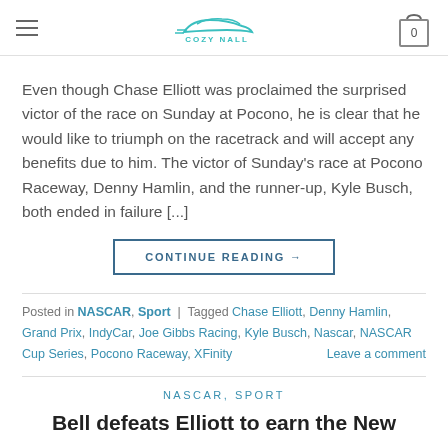COZY NALL (logo with hamburger menu and cart)
Even though Chase Elliott was proclaimed the surprised victor of the race on Sunday at Pocono, he is clear that he would like to triumph on the racetrack and will accept any benefits due to him. The victor of Sunday’s race at Pocono Raceway, Denny Hamlin, and the runner-up, Kyle Busch, both ended in failure [...]
CONTINUE READING →
Posted in NASCAR, Sport | Tagged Chase Elliott, Denny Hamlin, Grand Prix, IndyCar, Joe Gibbs Racing, Kyle Busch, Nascar, NASCAR Cup Series, Pocono Raceway, XFinity
Leave a comment
NASCAR, SPORT
Bell defeats Elliott to earn the New